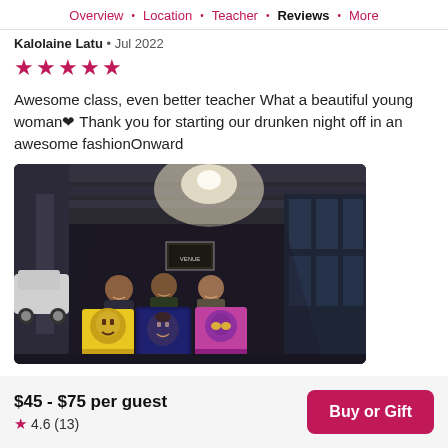Overview · Location · Teacher · Reviews · More
Kalolaine Latu • Jul 2022
★★★★★
Awesome class, even better teacher What a beautiful young woman❤ Thank you for starting our drunken night off in an awesome fashionOnward
[Figure (photo): Three women standing in a covered outdoor corridor at night, each holding a colorful painted canvas portrait. Artwork features vibrant pop-art style portraits.]
$45 - $75 per guest ★ 4.6 (13) Buy or Gift